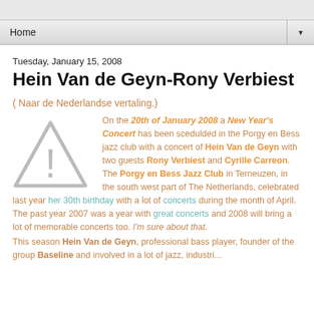Home
Tuesday, January 15, 2008
Hein Van de Geyn-Rony Verbiest
( Naar de Nederlandse vertaling.)
On the 20th of January 2008 a New Year's Concert has been scedulded in the Porgy en Bess jazz club with a concert of Hein Van de Geyn with two guests Rony Verbiest and Cyrille Carreon. The Porgy en Bess Jazz Club in Terneuzen, in the south west part of The Netherlands, celebrated last year her 30th birthday with a lot of concerts during the month of April. The past year 2007 was a year with great concerts and 2008 will bring a lot of memorable concerts too. I'm sure about that.
This season Hein Van de Geyn, professional bass player, founder of the group Baseline and involved in a lot of jazz, industries...